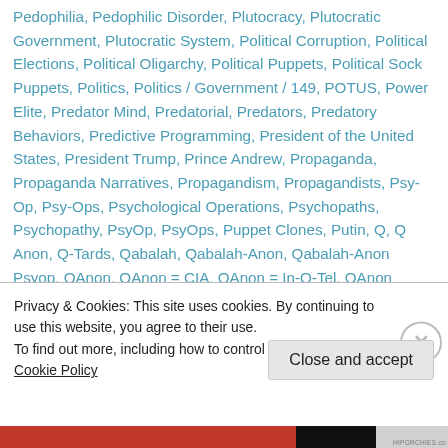Pedophilia, Pedophilic Disorder, Plutocracy, Plutocratic Government, Plutocratic System, Political Corruption, Political Elections, Political Oligarchy, Political Puppets, Political Sock Puppets, Politics, Politics / Government / 149, POTUS, Power Elite, Predator Mind, Predatorial, Predators, Predatory Behaviors, Predictive Programming, President of the United States, President Trump, Prince Andrew, Propaganda, Propaganda Narratives, Propagandism, Propagandists, Psy-Op, Psy-Ops, Psychological Operations, Psychopaths, Psychopathy, PsyOp, PsyOps, Puppet Clones, Putin, Q, Q Anon, Q-Tards, Qabalah, Qabalah-Anon, Qabalah-Anon Psyop, QAnon, QAnon = CIA, QAnon = In-Q-Tel, QAnon
Privacy & Cookies: This site uses cookies. By continuing to use this website, you agree to their use. To find out more, including how to control cookies, see here: Cookie Policy
Close and accept